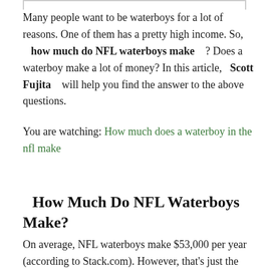Many people want to be waterboys for a lot of reasons. One of them has a pretty high income. So, how much do NFL waterboys make ? Does a waterboy make a lot of money? In this article, Scott Fujita will help you find the answer to the above questions.
You are watching: How much does a waterboy in the nfl make
How Much Do NFL Waterboys Make?
On average, NFL waterboys make $53,000 per year (according to Stack.com). However, that's just the salary for beginners. For professionals, their salary can be higher. That means it depends quite a bit on